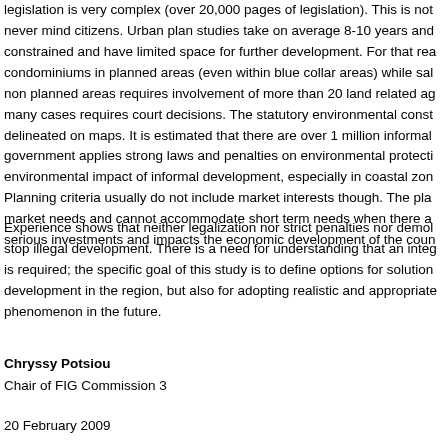legislation is very complex (over 20,000 pages of legislation). This is not never mind citizens. Urban plan studies take on average 8-10 years and constrained and have limited space for further development. For that rea condominiums in planned areas (even within blue collar areas) while sal non planned areas requires involvement of more than 20 land related ag many cases requires court decisions. The statutory environmental const delineated on maps. It is estimated that there are over 1 million informal government applies strong laws and penalties on environmental protecti environmental impact of informal development, especially in coastal zon Planning criteria usually do not include market interests though. The pla market needs and cannot accommodate short term needs when there a serious investments and impacts the economic development of the coun
Experience shows that neither legalization nor strict penalties nor demol stop illegal development. There is a need for understanding that an integ is required; the specific goal of this study is to define options for solution development in the region, but also for adopting realistic and appropriate phenomenon in the future.
Chryssy Potsiou
Chair of FIG Commission 3
20 February 2009